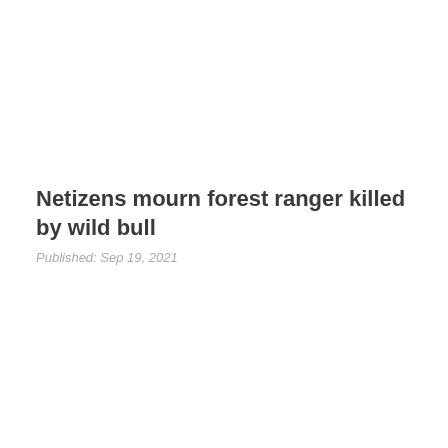Netizens mourn forest ranger killed by wild bull
Published: Sep 19, 2021